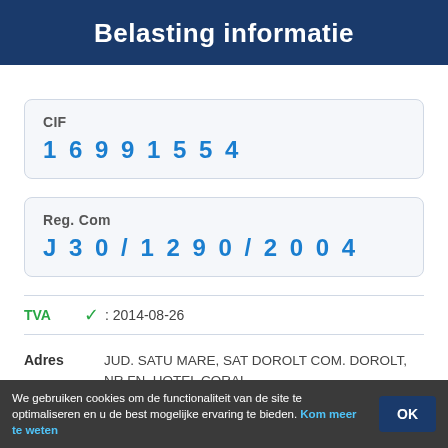Belasting informatie
CIF
16991554
Reg. Com
J30/1290/2004
TVA ✓ : 2014-08-26
Adres   JUD. SATU MARE, SAT DOROLT COM. DOROLT, NR.FN. HOTEL CORAL
Adres 2  SAT DOROLT COMUNA DOROLTNR.FN.HOTEL
We gebruiken cookies om de functionaliteit van de site te optimaliseren en u de best mogelijke ervaring te bieden. Kom meer te weten